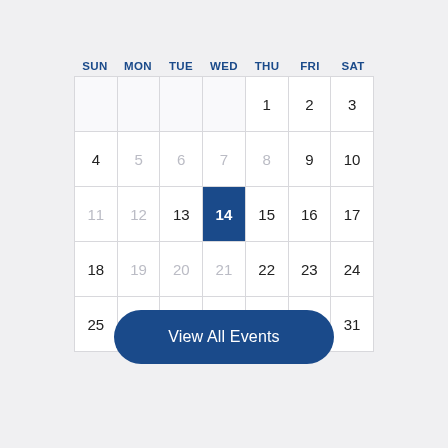| SUN | MON | TUE | WED | THU | FRI | SAT |
| --- | --- | --- | --- | --- | --- | --- |
|  |  |  |  | 1 | 2 | 3 |
| 4 | 5 | 6 | 7 | 8 | 9 | 10 |
| 11 | 12 | 13 | 14 | 15 | 16 | 17 |
| 18 | 19 | 20 | 21 | 22 | 23 | 24 |
| 25 | 26 | 27 | 28 | 29 | 30 | 31 |
View All Events